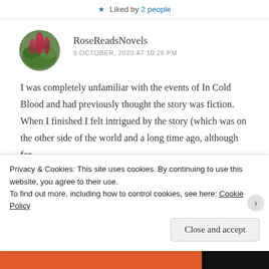Liked by 2 people
RoseReadsNovels
9 OCTOBER, 2020 AT 10:26 PM
[Figure (photo): Circular avatar image showing pink/red flowers (bottlebrush flowers) with green foliage background]
I was completely unfamiliar with the events of In Cold Blood and had previously thought the story was fiction. When I finished I felt intrigued by the story (which was on the other side of the world and a long time ago, although for
Privacy & Cookies: This site uses cookies. By continuing to use this website, you agree to their use.
To find out more, including how to control cookies, see here: Cookie Policy
Close and accept